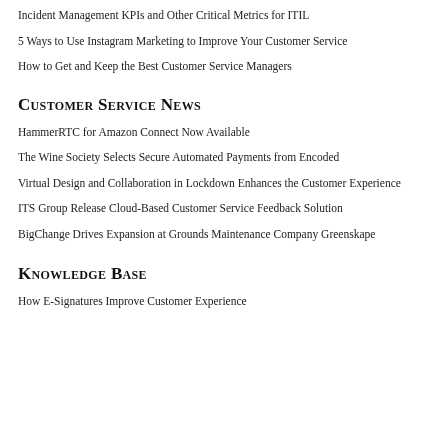Incident Management KPIs and Other Critical Metrics for ITIL
5 Ways to Use Instagram Marketing to Improve Your Customer Service
How to Get and Keep the Best Customer Service Managers
Customer Service News
HammerRTC for Amazon Connect Now Available
The Wine Society Selects Secure Automated Payments from Encoded
Virtual Design and Collaboration in Lockdown Enhances the Customer Experience
ITS Group Release Cloud-Based Customer Service Feedback Solution
BigChange Drives Expansion at Grounds Maintenance Company Greenskape
Knowledge Base
How E-Signatures Improve Customer Experience